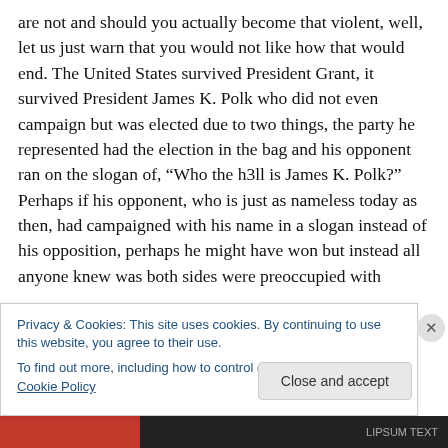are not and should you actually become that violent, well, let us just warn that you would not like how that would end. The United States survived President Grant, it survived President James K. Polk who did not even campaign but was elected due to two things, the party he represented had the election in the bag and his opponent ran on the slogan of, “Who the h3ll is James K. Polk?” Perhaps if his opponent, who is just as nameless today as then, had campaigned with his name in a slogan instead of his opposition, perhaps he might have won but instead all anyone knew was both sides were preoccupied with
Privacy & Cookies: This site uses cookies. By continuing to use this website, you agree to their use.
To find out more, including how to control cookies, see here: Cookie Policy
Close and accept